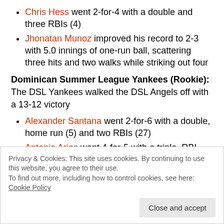Chris Hess went 2-for-4 with a double and three RBIs (4)
Jhonatan Munoz improved his record to 2-3 with 5.0 innings of one-run ball, scattering three hits and two walks while striking out four
Dominican Summer League Yankees (Rookie): The DSL Yankees walked the DSL Angels off with a 13-12 victory
Alexander Santana went 2-for-6 with a double, home run (5) and two RBIs (27)
Antonio Arias went 4-for-5 with a triple, RBI (24) and four runs scored
Privacy & Cookies: This site uses cookies. By continuing to use this website, you agree to their use.
To find out more, including how to control cookies, see here: Cookie Policy